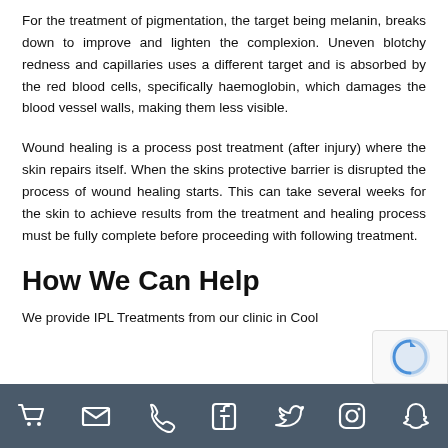For the treatment of pigmentation, the target being melanin, breaks down to improve and lighten the complexion. Uneven blotchy redness and capillaries uses a different target and is absorbed by the red blood cells, specifically haemoglobin, which damages the blood vessel walls, making them less visible.
Wound healing is a process post treatment (after injury) where the skin repairs itself. When the skins protective barrier is disrupted the process of wound healing starts. This can take several weeks for the skin to achieve results from the treatment and healing process must be fully complete before proceeding with following treatment.
How We Can Help
We provide IPL Treatments from our clinic in Cool...
Icons: cart, email, phone, facebook, twitter, instagram, snapchat